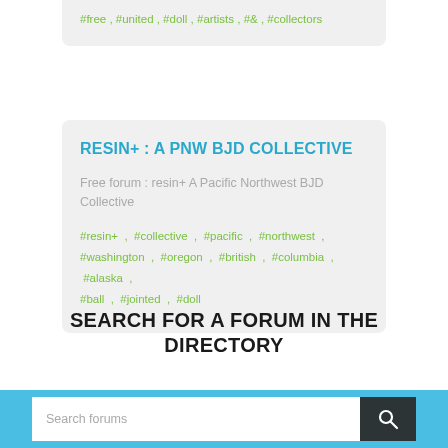#free , #united , #doll , #artists , #& , #collectors
RESIN+ : A PNW BJD COLLECTIVE
Free forum : resin+ A Pacific Northwest BJD Collective
#resin+ , #collective , #pacific , #northwest , #washington , #oregon , #british , #columbia , #alaska , #ball , #jointed , #doll
SEARCH FOR A FORUM IN THE DIRECTORY
Search forums